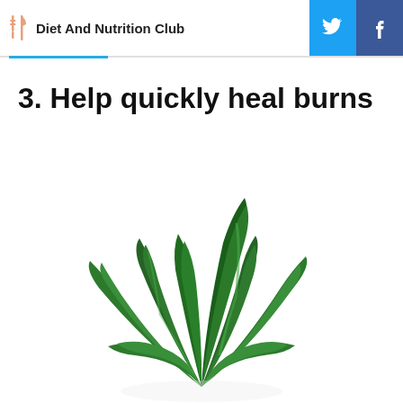Diet And Nutrition Club
3. Help quickly heal burns
[Figure (photo): An aloe vera plant with dark green pointed leaves spreading outward and upward against a white background]